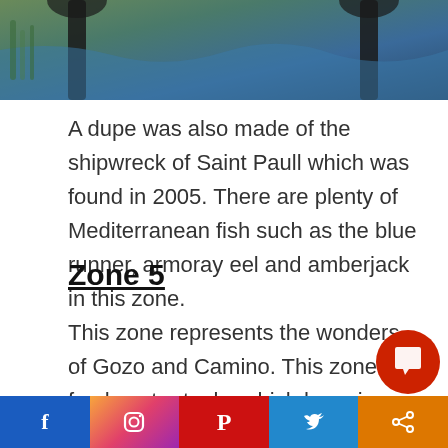[Figure (photo): Partial view of an aquarium or underwater scene with dark wooden/metal structures and blue water visible]
A dupe was also made of the shipwreck of Saint Paull which was found in 2005. There are plenty of Mediterranean fish such as the blue runner, armoray eel and amberjack in this zone.
Zone 5
This zone represents the wonders of Gozo and Camino. This zone has fresh water tanks which have in display pacu, catfish, peacock bass, Oscars etc.
[Figure (infographic): Social media share bar at the bottom with Facebook, Instagram, Pinterest, Twitter, and share icons]